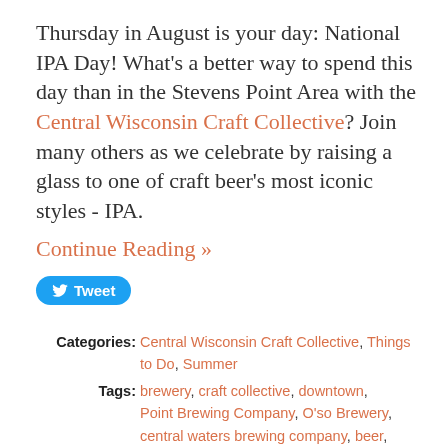Thursday in August is your day: National IPA Day! What's a better way to spend this day than in the Stevens Point Area with the Central Wisconsin Craft Collective? Join many others as we celebrate by raising a glass to one of craft beer's most iconic styles - IPA.
Continue Reading »
Categories: Central Wisconsin Craft Collective, Things to Do, Summer
Tags: brewery, craft collective, downtown, Point Brewing Company, O'so Brewery, central waters brewing company, beer, celebrate, 21+